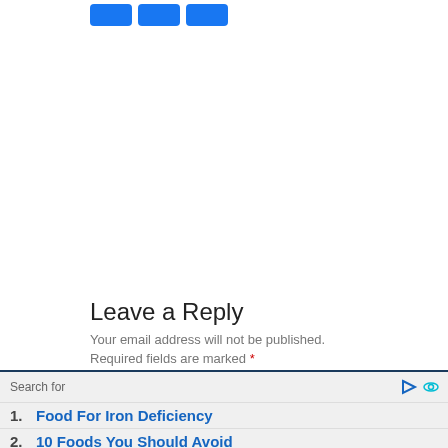[Figure (other): Three blue social media share/like buttons at the top of the page]
Leave a Reply
Your email address will not be published.
Required fields are marked *
Search for
1. Food For Iron Deficiency
2. 10 Foods You Should Avoid